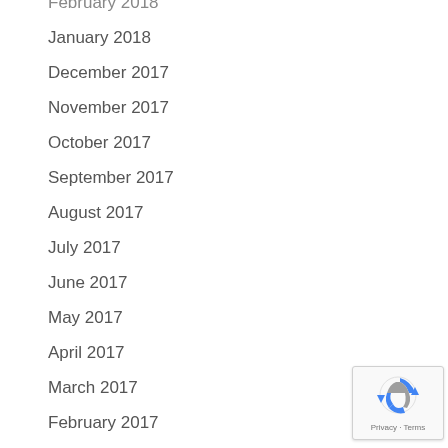February 2018
January 2018
December 2017
November 2017
October 2017
September 2017
August 2017
July 2017
June 2017
May 2017
April 2017
March 2017
February 2017
January 2017
December 2016
[Figure (logo): Google reCAPTCHA badge with Privacy and Terms text]